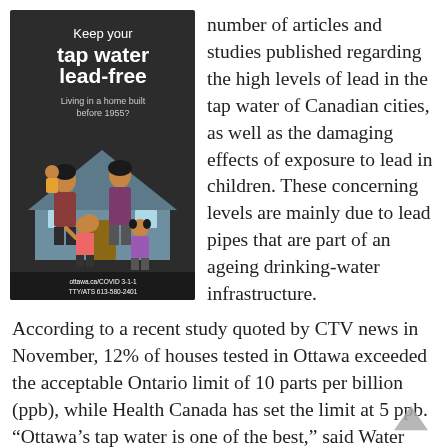[Figure (illustration): Ottawa public health poster with dark background. Text reads 'Keep your tap water lead-free. Living in a home built before 1955?' with an illustration of a family (two adults and two children) in front of a house. Bottom text: ottawa.ca/COVID 3-1-1 TTY/ATS 613-580-2401]
number of articles and studies published regarding the high levels of lead in the tap water of Canadian cities, as well as the damaging effects of exposure to lead in children. These concerning levels are mainly due to lead pipes that are part of an ageing drinking-water infrastructure.
According to a recent study quoted by CTV news in November, 12% of houses tested in Ottawa exceeded the acceptable Ontario limit of 10 parts per billion (ppb), while Health Canada has set the limit at 5 ppb. “Ottawa’s tap water is one of the best,” said Water Quality Engineer for the City of Ottawa Ian Douglas, in that